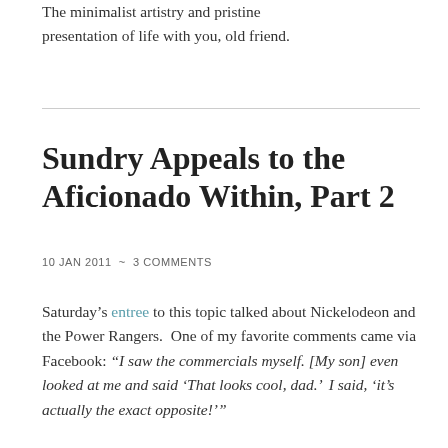The minimalist artistry and pristine presentation of life with you, old friend.
Sundry Appeals to the Aficionado Within, Part 2
10 JAN 2011  ~  3 COMMENTS
Saturday's entree to this topic talked about Nickelodeon and the Power Rangers.  One of my favorite comments came via Facebook: “I saw the commercials myself. [My son] even looked at me and said ‘That looks cool, dad.’  I said, ‘it’s actually the exact opposite!’”